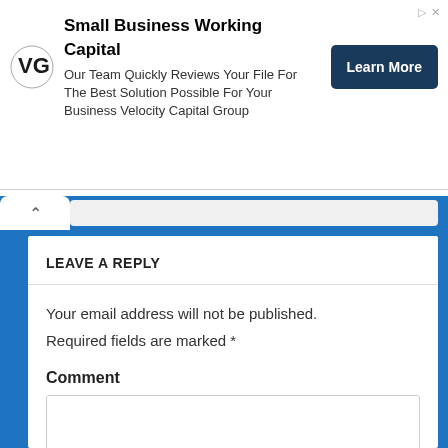[Figure (screenshot): Advertisement banner for Velocity Capital Group - Small Business Working Capital with Learn More button]
LEAVE A REPLY
Your email address will not be published.
Required fields are marked *
Comment